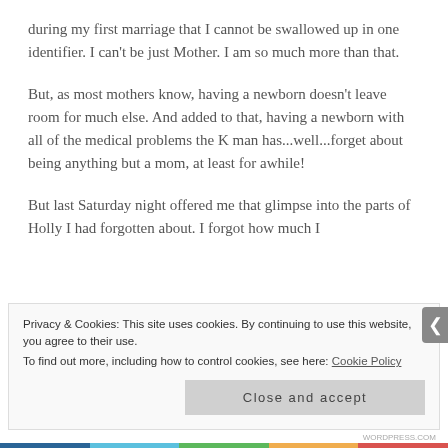during my first marriage that I cannot be swallowed up in one identifier.  I can't be just Mother.  I am so much more than that.
But, as most mothers know, having a newborn doesn't leave room for much else.  And added to that, having a newborn with all of the medical problems the K man has...well...forget about being anything but a mom, at least for awhile!
But last Saturday night offered me that glimpse into the parts of Holly I had forgotten about.  I forgot how much I
Privacy & Cookies: This site uses cookies. By continuing to use this website, you agree to their use.
To find out more, including how to control cookies, see here: Cookie Policy
Close and accept